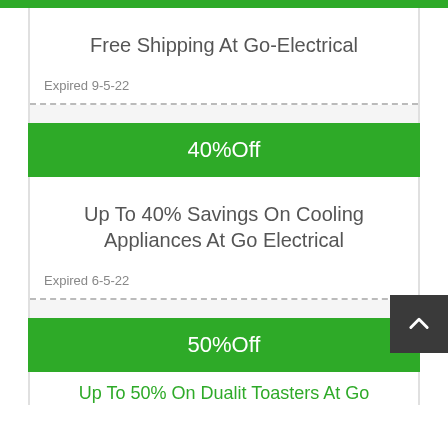Free Shipping At Go-Electrical
Expired 9-5-22
40%Off
Up To 40% Savings On Cooling Appliances At Go Electrical
Expired 6-5-22
50%Off
Up To 50% On Dualit Toasters At Go